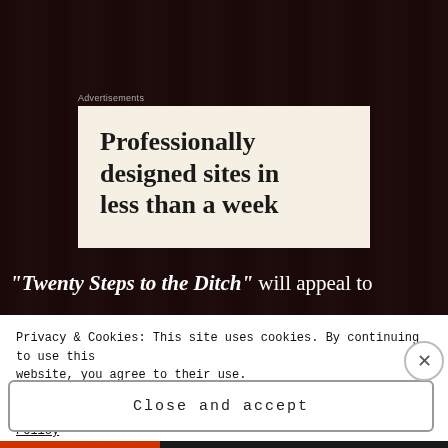Advertisements
[Figure (screenshot): Advertisement banner with cream/beige background showing text: 'Professionally designed sites in less than a week']
"Twenty Steps to the Ditch" will appeal to
Privacy & Cookies: This site uses cookies. By continuing to use this website, you agree to their use.
To find out more, including how to control cookies, see here: Cookie Policy
Close and accept